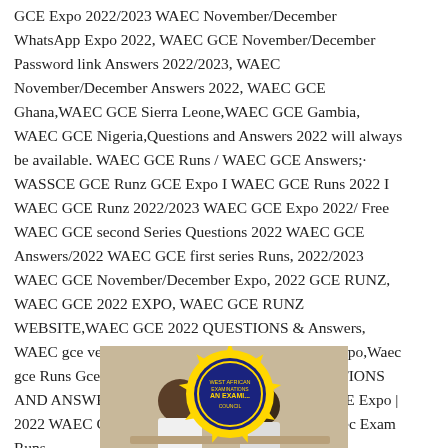GCE Expo 2022/2023 WAEC November/December WhatsApp Expo 2022, WAEC GCE November/December Password link Answers 2022/2023, WAEC November/December Answers 2022, WAEC GCE Ghana,WAEC GCE Sierra Leone,WAEC GCE Gambia, WAEC GCE Nigeria,Questions and Answers 2022 will always be available. WAEC GCE Runs / WAEC GCE Answers;· WASSCE GCE Runz GCE Expo I WAEC GCE Runs 2022 I WAEC GCE Runz 2022/2023 WAEC GCE Expo 2022/ Free WAEC GCE second Series Questions 2022 WAEC GCE Answers/2022 WAEC GCE first series Runs, 2022/2023 WAEC GCE November/December Expo, 2022 GCE RUNZ, WAEC GCE 2022 EXPO, WAEC GCE RUNZ WEBSITE,WAEC GCE 2022 QUESTIONS & Answers, WAEC gce verified answers, 2022 GCE Waec Gce expo,Waec gce Runs Gce expo / 2022/2023 WAEC GCE QUESTIONS AND ANSWERS / EXPO / RUNS | 2022 WAEC GCE Expo | 2022 WAEC GCE EXPO | 2022 WAEC GCE Nov/Dec Exam Runs.
[Figure (photo): Photo of students writing an exam with a WAEC (West African Examinations Council) logo overlay showing a blue circle with yellow lightning bolts and text 'AN EXAMI...']